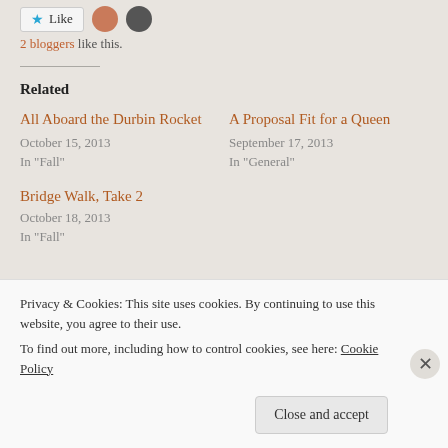[Figure (other): Like button with star icon and two user avatars]
2 bloggers like this.
Related
All Aboard the Durbin Rocket
October 15, 2013
In "Fall"
A Proposal Fit for a Queen
September 17, 2013
In "General"
Bridge Walk, Take 2
October 18, 2013
In "Fall"
Privacy & Cookies: This site uses cookies. By continuing to use this website, you agree to their use.
To find out more, including how to control cookies, see here: Cookie Policy